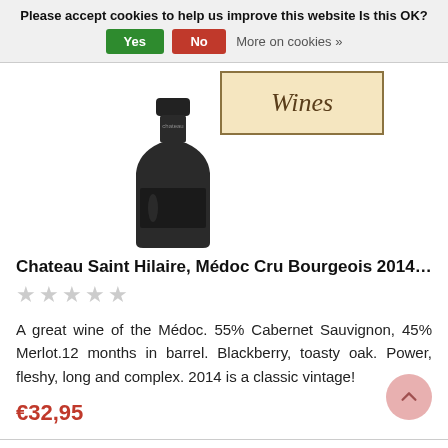Please accept cookies to help us improve this website Is this OK?  Yes  No  More on cookies »
[Figure (photo): Wine bottle (dark green, partially visible) next to a 'Wines' label on cream/beige background with dark border]
Chateau Saint Hilaire, Médoc Cru Bourgeois 2014…
★★★★★ (empty stars, gray)
A great wine of the Médoc. 55% Cabernet Sauvignon, 45% Merlot.12 months in barrel. Blackberry, toasty oak. Power, fleshy, long and complex. 2014 is a classic vintage!
€32,95